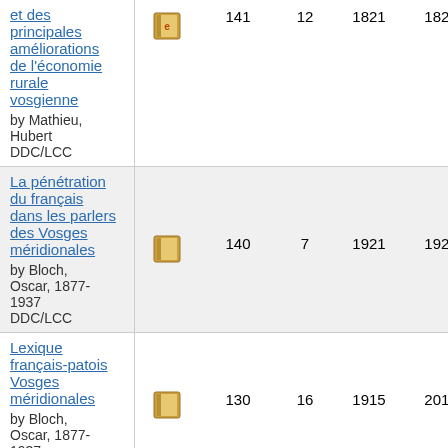| Title | Type | Score | Reviews | Year1 | Year2 |
| --- | --- | --- | --- | --- | --- |
| et des principales améliorations de l'économie rurale vosgienne
by Mathieu, Hubert
DDC/LCC | [icon-e] | 141 | 12 | 1821 | 1821 |
| La pénétration du français dans les parlers des Vosges méridionales
by Bloch, Oscar, 1877-1937
DDC/LCC | [icon] | 140 | 7 | 1921 | 1921 |
| Lexique français-patois Vosges méridionales
by Bloch, Oscar, 1877-1937 | [icon] | 130 | 16 | 1915 | 2010 |